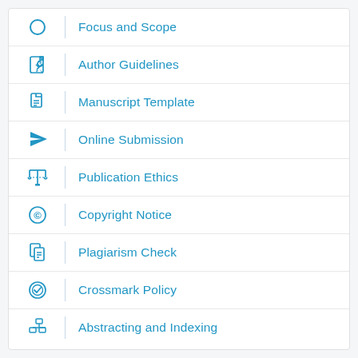Focus and Scope
Author Guidelines
Manuscript Template
Online Submission
Publication Ethics
Copyright Notice
Plagiarism Check
Crossmark Policy
Abstracting and Indexing